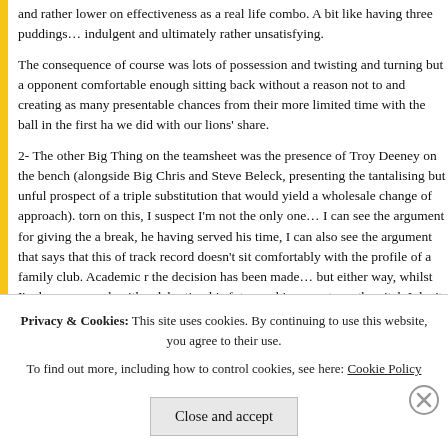and rather lower on effectiveness as a real life combo. A bit like having three puddings… indulgent and ultimately rather unsatisfying.
The consequence of course was lots of possession and twisting and turning but a opponent comfortable enough sitting back without a reason not to and creating as many presentable chances from their more limited time with the ball in the first ha we did with our lions' share.
2- The other Big Thing on the teamsheet was the presence of Troy Deeney on the bench (alongside Big Chris and Steve Beleck, presenting the tantalising but unful prospect of a triple substitution that would yield a wholesale change of approach). torn on this, I suspect I'm not the only one… I can see the argument for giving the a break, he having served his time, I can also see the argument that says that this of track record doesn't sit comfortably with the profile of a family club. Academic r the decision has been made… but either way, whilst I'm happy enough with celebrating his future achievements on the pitch I don't really see what the round applause – albeit peppered with boos – that greeted his introduction was all abou What are you applauding him for, exactly?
Privacy & Cookies: This site uses cookies. By continuing to use this website, you agree to their use.
To find out more, including how to control cookies, see here: Cookie Policy
Close and accept